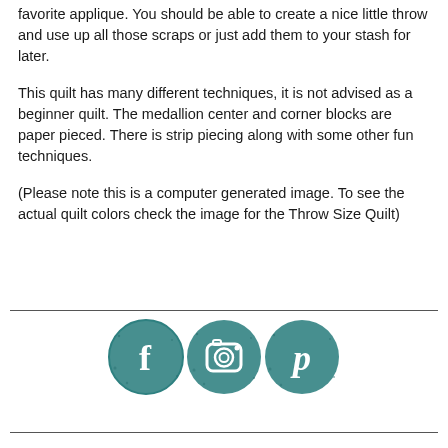favorite applique.  You should be able to create a nice little throw and use up all those scraps or just add them to your stash for later.
This quilt has many different techniques, it is not advised as a beginner quilt.  The medallion center and corner blocks are paper pieced.  There is strip piecing along with some other fun techniques.
(Please note this is a computer generated image.  To see the actual quilt colors check the image for the Throw Size Quilt)
[Figure (illustration): Three teal circular social media icons: Facebook (f), Instagram (camera), and Pinterest (p)]